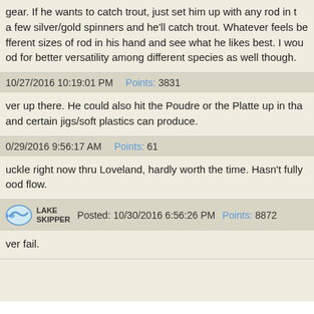gear. If he wants to catch trout, just set him up with any rod in t a few silver/gold spinners and he'll catch trout. Whatever feels be fferent sizes of rod in his hand and see what he likes best. I wou od for better versatility among different species as well though.
10/27/2016 10:19:01 PM   Points: 3831
ver up there. He could also hit the Poudre or the Platte up in tha and certain jigs/soft plastics can produce.
0/29/2016 9:56:17 AM   Points: 61
uckle right now thru Loveland, hardly worth the time. Hasn't fully ood flow.
Posted: 10/30/2016 6:56:26 PM   Points: 8872
ver fail.